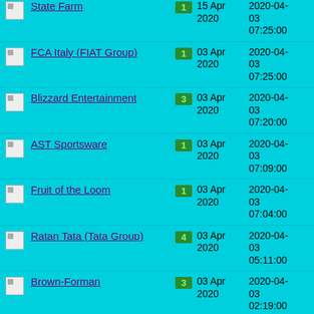| Icon | Name | Count | Date | Datetime |
| --- | --- | --- | --- | --- |
| [img] | State Farm | 1 | 03 Apr 2020 | 2020-04-03 07:25:00 |
| [img] | FCA Italy (FIAT Group) | 1 | 03 Apr 2020 | 2020-04-03 07:25:00 |
| [img] | Blizzard Entertainment | 3 | 03 Apr 2020 | 2020-04-03 07:20:00 |
| [img] | AST Sportsware | 1 | 03 Apr 2020 | 2020-04-03 07:09:00 |
| [img] | Fruit of the Loom | 1 | 03 Apr 2020 | 2020-04-03 07:04:00 |
| [img] | Ratan Tata (Tata Group) | 4 | 03 Apr 2020 | 2020-04-03 05:11:00 |
| [img] | Brown-Forman | 3 | 03 Apr 2020 | 2020-04-03 02:19:00 |
| [img] | Post Malone (Austin Richard Post) | 2 | 02 Apr 2020 | 2020-04-02 13:30:00 |
| [img] | … | … | 02 Apr … | 2020-04-… |